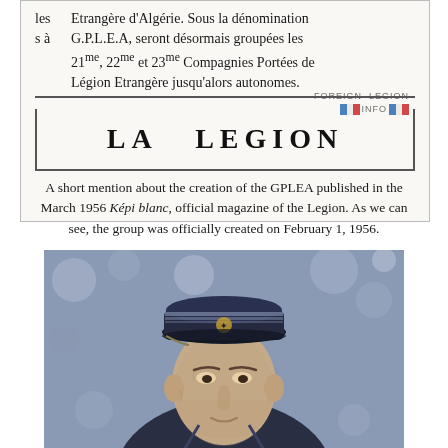[Figure (illustration): Scanned page from a French military document showing text in French about the GPLEA (Groupement Portée de Légion Etrangère d'Algérie) and a large bold title 'LA LEGION' inside a bordered box. A Foreign Legion Info watermark is visible.]
A short mention about the creation of the GPLEA published in the March 1956 Képi blanc, official magazine of the Legion. As we can see, the group was officially created on February 1, 1956.
[Figure (photo): Black and white photograph of a French Foreign Legion officer wearing a military cap with insignia, shown from shoulders up.]